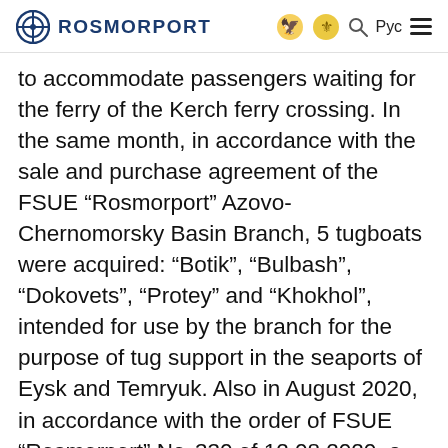ROSMORPORT
to accommodate passengers waiting for the ferry of the Kerch ferry crossing. In the same month, in accordance with the sale and purchase agreement of the FSUE “Rosmorport” Azovo-Chernomorsky Basin Branch, 5 tugboats were acquired: “Botik”, “Bulbash”, “Dokovets”, “Protey” and “Khokhol”, intended for use by the branch for the purpose of tug support in the seaports of Eysk and Temryuk. Also in August 2020, in accordance with the order of FSUE “Rosmorport” No. 330 of 12.08.2020, a decision has been made to dispose of the self-unloading hauler Ligatne due to its complete physical deterioration. In addition, in August 2020, the FSUE “Rosmorport” Azovo-Chernomorsky Basin Branch stopped